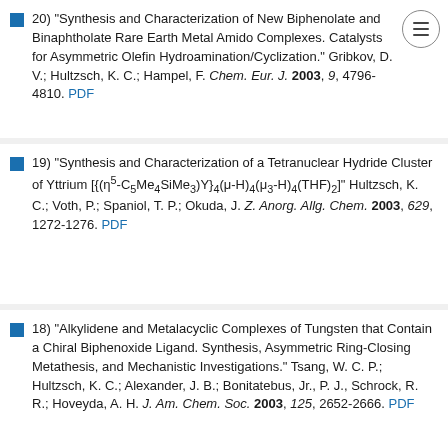20) "Synthesis and Characterization of New Biphenolate and Binaphtholate Rare Earth Metal Amido Complexes. Catalysts for Asymmetric Olefin Hydroamination/Cyclization." Gribkov, D. V.; Hultzsch, K. C.; Hampel, F. Chem. Eur. J. 2003, 9, 4796-4810. PDF
19) "Synthesis and Characterization of a Tetranuclear Hydride Cluster of Yttrium [{(η5-C5Me4SiMe3)Y}4(μ-H)4(μ3-H)4(THF)2]" Hultzsch, K. C.; Voth, P.; Spaniol, T. P.; Okuda, J. Z. Anorg. Allg. Chem. 2003, 629, 1272-1276. PDF
18) "Alkylidene and Metalacyclic Complexes of Tungsten that Contain a Chiral Biphenoxide Ligand. Synthesis, Asymmetric Ring-Closing Metathesis, and Mechanistic Investigations." Tsang, W. C. P.; Hultzsch, K. C.; Alexander, J. B.; Bonitatebus, Jr., P. J., Schrock, R. R.; Hoveyda, A. H. J. Am. Chem. Soc. 2003, 125, 2652-2666. PDF
17) "Group 3 and 4 metal allyl and hydride complexes...